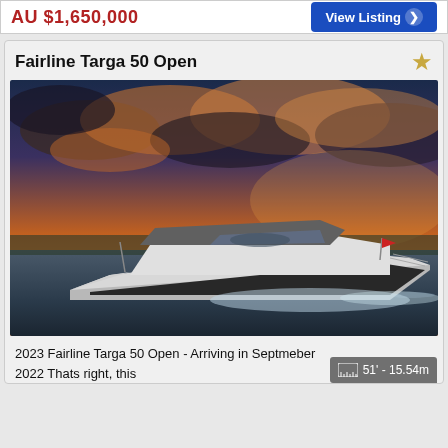AU $1,650,000
View Listing
Fairline Targa 50 Open
[Figure (photo): A Fairline Targa 50 Open motorboat speeding across water with a dramatic orange and cloudy sunset sky in the background. The white yacht has a sleek modern design with a hardtop, flagpole at the stern with a red flag, and creates a large wake.]
2023 Fairline Targa 50 Open - Arriving in Septmeber 2022 Thats right, this
51' - 15.54m